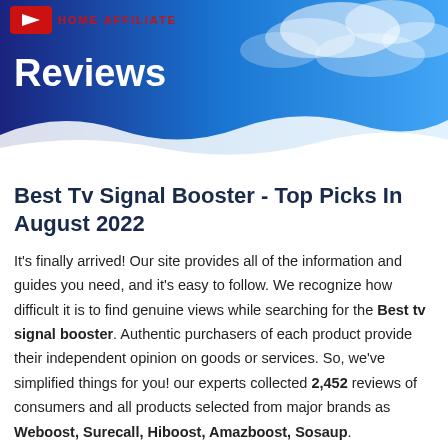[Figure (illustration): Blue sky with clouds background banner with a red logo icon and 'Home Affiliate' text in red, and large white bold 'Reviews' text]
Best Tv Signal Booster - Top Picks In August 2022
It's finally arrived! Our site provides all of the information and guides you need, and it's easy to follow. We recognize how difficult it is to find genuine views while searching for the Best tv signal booster. Authentic purchasers of each product provide their independent opinion on goods or services. So, we've simplified things for you! our experts collected 2,452 reviews of consumers and all products selected from major brands as Weboost, Surecall, Hiboost, Amazboost, Sosaup.